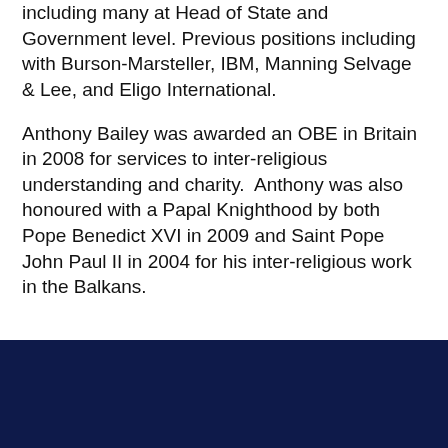including many at Head of State and Government level. Previous positions including with Burson-Marsteller, IBM, Manning Selvage & Lee, and Eligo International.
Anthony Bailey was awarded an OBE in Britain in 2008 for services to inter-religious understanding and charity. Anthony was also honoured with a Papal Knighthood by both Pope Benedict XVI in 2009 and Saint Pope John Paul II in 2004 for his inter-religious work in the Balkans.